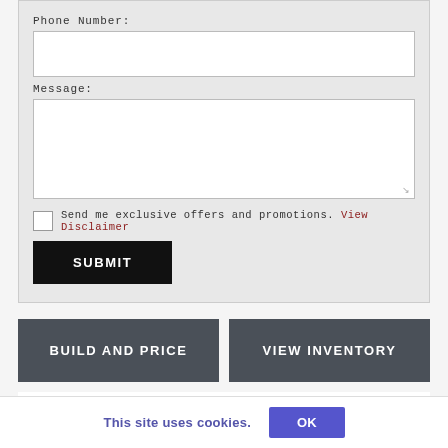Phone Number:
Message:
Send me exclusive offers and promotions. View Disclaimer
SUBMIT
BUILD AND PRICE
VIEW INVENTORY
Disclaimer: ▼Connected vehicle service is available for a 2-year trial period from your vehicle's in-service date; a paid subscription is required upon expiry of the trial period.
This site uses cookies. OK